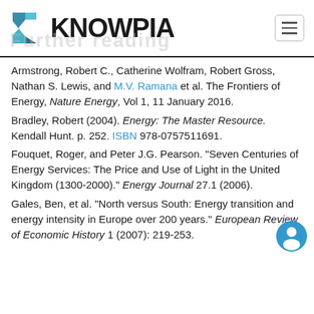KNOWPIA — Further reading
Armstrong, Robert C., Catherine Wolfram, Robert Gross, Nathan S. Lewis, and M.V. Ramana et al. The Frontiers of Energy, Nature Energy, Vol 1, 11 January 2016.
Bradley, Robert (2004). Energy: The Master Resource. Kendall Hunt. p. 252. ISBN 978-0757511691.
Fouquet, Roger, and Peter J.G. Pearson. "Seven Centuries of Energy Services: The Price and Use of Light in the United Kingdom (1300-2000)." Energy Journal 27.1 (2006).
Gales, Ben, et al. "North versus South: Energy transition and energy intensity in Europe over 200 years." European Review of Economic History 1 (2007): 219-253.